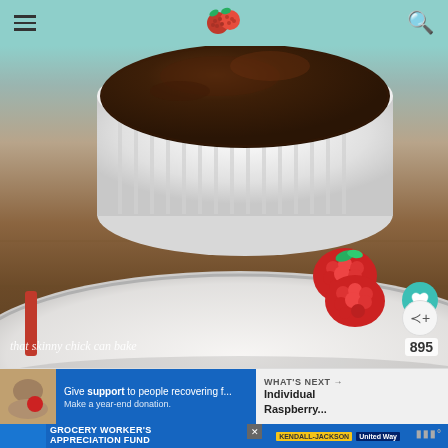Navigation bar with hamburger menu, raspberry logo, and search icon
[Figure (photo): Close-up photo of a chocolate soufflé in a white fluted ramekin on a white plate with two fresh raspberries and a mint leaf, on a wooden surface. Watermark reads 'that skinny chick can bake']
[Figure (infographic): WHAT'S NEXT banner with thumbnail image and text 'Individual Raspberry...' alongside a blue donation ad 'Give support to people recovering f... Make a year-end donation.']
[Figure (infographic): Bottom banner ad: GROCERY WORKER'S APPRECIATION FUND with Kendall-Jackson and United Way logos]